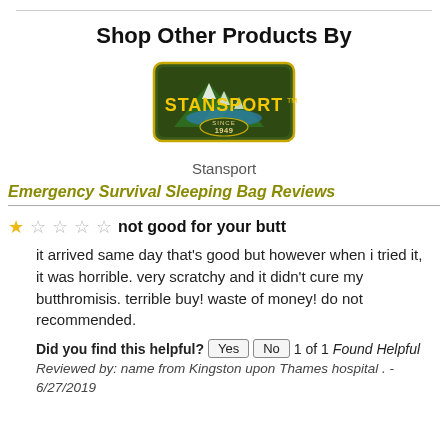Shop Other Products By
[Figure (logo): Stansport brand logo — mountain silhouette with 'STANSPORT' text and 'SINCE 1949' below]
Stansport
Emergency Survival Sleeping Bag Reviews
★☆☆☆☆ not good for your butt
it arrived same day that's good but however when i tried it, it was horrible. very scratchy and it didn't cure my butthromisis. terrible buy! waste of money! do not recommended.
Did you find this helpful? Yes No 1 of 1 Found Helpful
Reviewed by: name from Kingston upon Thames hospital . - 6/27/2019